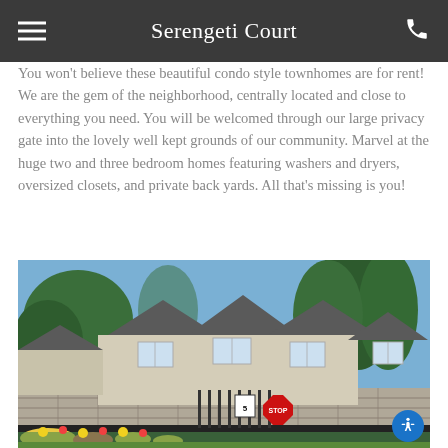Serengeti Court
You won't believe these beautiful condo style townhomes are for rent!  We are the gem of the neighborhood, centrally located and close to everything you need.  You will be welcomed through our large privacy gate into the lovely well kept grounds of our community. Marvel at the huge two and three bedroom homes featuring washers and dryers, oversized closets, and private back yards.  All that's missing is you!
[Figure (photo): Exterior view of Serengeti Court townhomes — a row of beige two-story condo-style townhomes with dark roofs, behind a stone block wall and black iron gate, with landscaped flower beds in the foreground and tall trees in the background under a blue sky. A red STOP sign is visible at the gate entrance.]